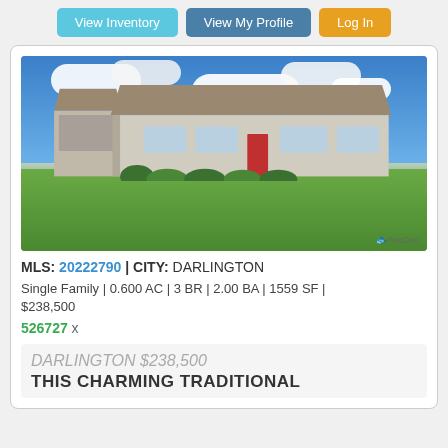View Inventory | View My Profile | Log In
[Figure (photo): Exterior photo of a single-story ranch-style home with gray roof, white/brick facade, red front door, attached garage, trimmed shrubs, and a large green lawn under a partly cloudy blue sky. PeeDee watermark in bottom right corner.]
MLS: 20222790 | CITY: DARLINGTON
Single Family | 0.600 AC | 3 BR | 2.00 BA | 1559 SF | $238,500
526727 x
DARLINGTON $238,500
THIS CHARMING TRADITIONAL